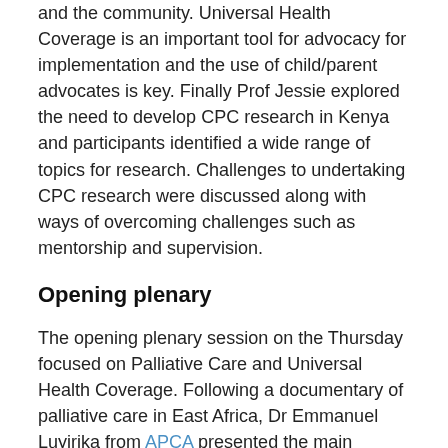and the community. Universal Health Coverage is an important tool for advocacy for implementation and the use of child/parent advocates is key. Finally Prof Jessie explored the need to develop CPC research in Kenya and participants identified a wide range of topics for research. Challenges to undertaking CPC research were discussed along with ways of overcoming challenges such as mentorship and supervision.
Opening plenary
The opening plenary session on the Thursday focused on Palliative Care and Universal Health Coverage. Following a documentary of palliative care in East Africa, Dr Emmanuel Luyirika from APCA presented the main findings of the Lancet Commission report on pain and palliative care. The keynote address, given by Robert Yates from Chatham House in the UK focused on ensuring palliative care is a top priority in UHC reforms. Throughout his presentation he stressed the importance of ensuring palliative care for all, including children, is a core component of UHC and that we need to ensure that this is honoured and recognised by governments. Responding to his address, the Minister of Health